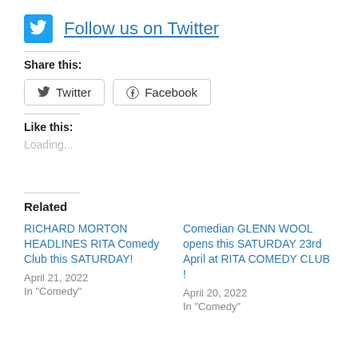Follow us on Twitter
Share this:
Twitter  Facebook
Like this:
Loading...
Related
RICHARD MORTON HEADLINES RITA Comedy Club this SATURDAY!
April 21, 2022
In "Comedy"
Comedian GLENN WOOL opens this SATURDAY 23rd April at RITA COMEDY CLUB !
April 20, 2022
In "Comedy"